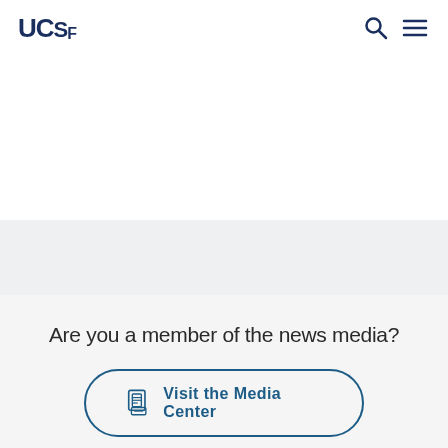UCSF
Are you a member of the news media?
Visit the Media Center